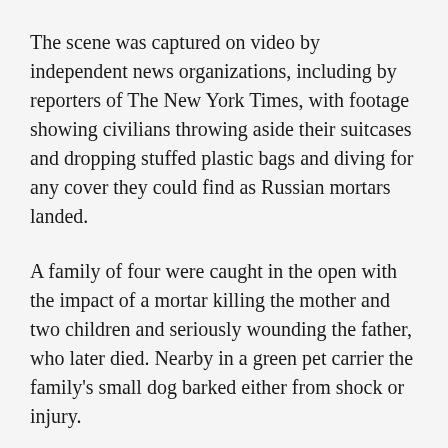The scene was captured on video by independent news organizations, including by reporters of The New York Times, with footage showing civilians throwing aside their suitcases and dropping stuffed plastic bags and diving for any cover they could find as Russian mortars landed.
A family of four were caught in the open with the impact of a mortar killing the mother and two children and seriously wounding the father, who later died. Nearby in a green pet carrier the family's small dog barked either from shock or injury.
Ukrainian officials accused the Russians of purposefully shelling the civilians, saying Russian commanders knew they were non-combatants trying to use of an escape route as Russian drones had been flying over the area just moments before the thump